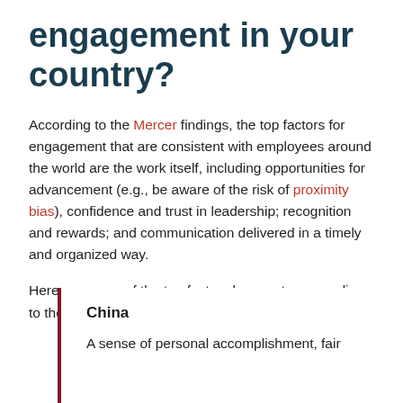engagement in your country?
According to the Mercer findings, the top factors for engagement that are consistent with employees around the world are the work itself, including opportunities for advancement (e.g., be aware of the risk of proximity bias), confidence and trust in leadership; recognition and rewards; and communication delivered in a timely and organized way.
Here are some of the top factors by country, according to the study:
China
A sense of personal accomplishment, fair